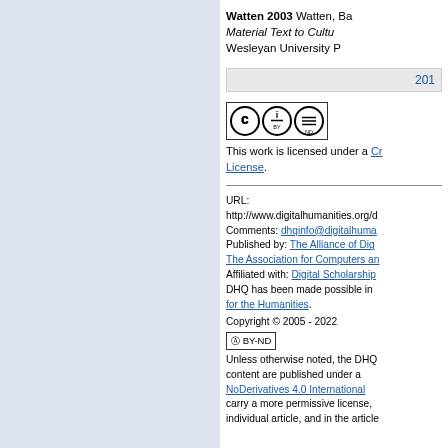Watten 2003 Watten, Ba Material Text to Cultu Wesleyan University P
201
[Figure (logo): Creative Commons BY-ND license badge]
This work is licensed under a Creative Commons License.
URL: http://www.digitalhumanities.org/d Comments: dhqinfo@digitalhuma Published by: The Alliance of Dig The Association for Computers an Affiliated with: Digital Scholarship DHQ has been made possible in for the Humanities. Copyright © 2005 - 2022
[Figure (logo): Creative Commons BY-ND badge small]
Unless otherwise noted, the DHQ content are published under a NoDerivatives 4.0 International carry a more permissive license, individual article, and in the article